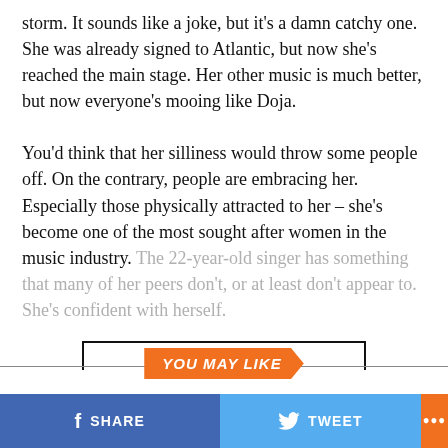storm. It sounds like a joke, but it's a damn catchy one. She was already signed to Atlantic, but now she's reached the main stage. Her other music is much better, but now everyone's mooing like Doja.
You'd think that her silliness would throw some people off. On the contrary, people are embracing her. Especially those physically attracted to her – she's become one of the most sought after women in the music industry. The 22-year-old singer has something that many of her peers don't, or at least don't appear to. She's confident with herself.
CONTINUE READING
YOU MAY LIKE
f SHARE  [bird] TWEET  ...